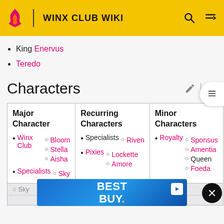WINX CLUB WIKI
King Enervus
Teredo
Characters
| Major Character | Recurring Characters | Minor Characters |
| --- | --- | --- |
| Winx Club
  Bloom
  Stella
  Aisha
Specialists
  Sky | Specialists
  Riven
Pixies
  Lockette
  Amore
  Chatta
  Zing | Royalty
  Sponsus
  Amentia
  Queen Foeda
  King Enervus
  Teredo |
[Figure (other): Best Buy advertisement banner]